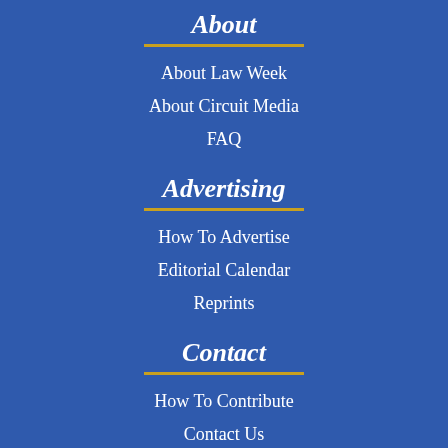About
About Law Week
About Circuit Media
FAQ
Advertising
How To Advertise
Editorial Calendar
Reprints
Contact
How To Contribute
Contact Us